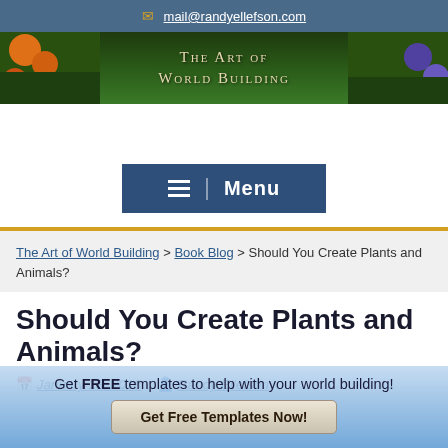mail@randyellefson.com
[Figure (illustration): The Art of World Building banner with flowers and greenery background]
[Figure (screenshot): Menu button with hamburger icon]
The Art of World Building > Book Blog > Should You Create Plants and Animals?
Should You Create Plants and Animals?
January 18, 2018   Randy Ellefson
Get FREE templates to help with your world building!
Get Free Templates Now!